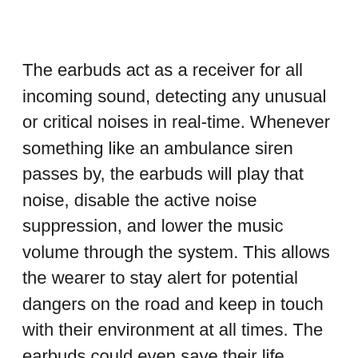The earbuds act as a receiver for all incoming sound, detecting any unusual or critical noises in real-time. Whenever something like an ambulance siren passes by, the earbuds will play that noise, disable the active noise suppression, and lower the music volume through the system. This allows the wearer to stay alert for potential dangers on the road and keep in touch with their environment at all times. The earbuds could even save their life, literally, by alarming them about oncoming traffic or emergency services whizzing by.